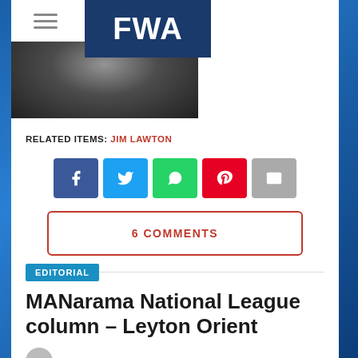[Figure (logo): FWA logo - white text on dark navy blue background]
[Figure (photo): Black and white hero image, partially visible at top of content card]
RELATED ITEMS: JIM LAWTON
[Figure (infographic): Social sharing buttons: Facebook, Twitter, WhatsApp, Pinterest, Email]
6 COMMENTS
EDITORIAL
MANarama National League column – Leyton Orient
By FWA editor